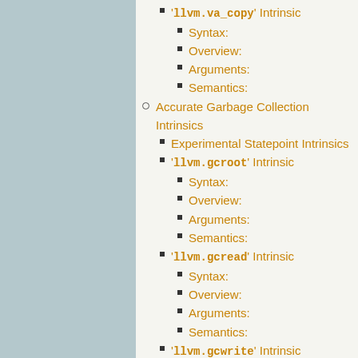'llvm.va_copy' Intrinsic
Syntax:
Overview:
Arguments:
Semantics:
Accurate Garbage Collection Intrinsics
Experimental Statepoint Intrinsics
'llvm.gcroot' Intrinsic
Syntax:
Overview:
Arguments:
Semantics:
'llvm.gcread' Intrinsic
Syntax:
Overview:
Arguments:
Semantics:
'llvm.gcwrite' Intrinsic
Syntax:
Overview:
Arguments: